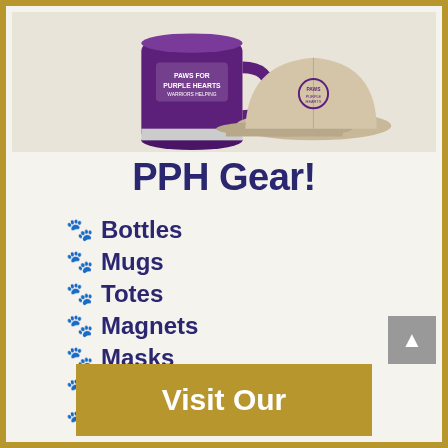[Figure (photo): PPH branded merchandise — a purple mug with Paws for Purple Hearts logo and a tan/khaki cap with logo]
PPH Gear!
🐾 Bottles
🐾 Mugs
🐾 Totes
🐾 Magnets
🐾 Masks
🐾 Sticky Pads
🐾 and more!
Visit Our